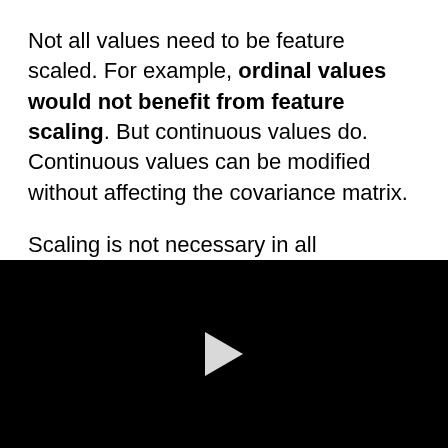Not all values need to be feature scaled. For example, ordinal values would not benefit from feature scaling. But continuous values do. Continuous values can be modified without affecting the covariance matrix.
Scaling is not necessary in all instances. If we're going to be using our data in a tree-based algorithm, there's no advantage to scaling.
If time and resources allow, we can try our
[Figure (other): Black video player area with a white play button triangle in the center]